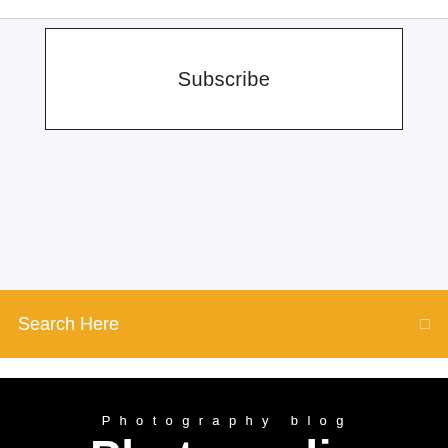Subscribe
Search Here
Photography blog
Photomedia
32-Bit-Download 32bit - für Windows - kostenlos. Bei dem